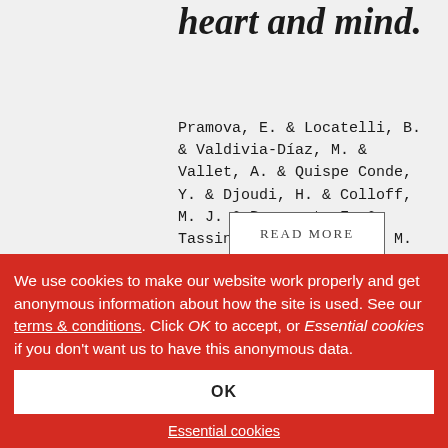havars with the body, heart and mind.
Pramova, E. & Locatelli, B. & Valdivia-Díaz, M. & Vallet, A. & Quispe Conde, Y. & Djoudi, H. & Colloff, M. J. & Bousquet, F. & Tassin, J. & Roldan, C. M.
READ MORE
We use cookies to make our website work properly and get anonymous information about how the site is used. See our terms & conditions. Click OK to accept, or Essential cookies if you don't want us to have this anonymous data.
OK
Essential cookies